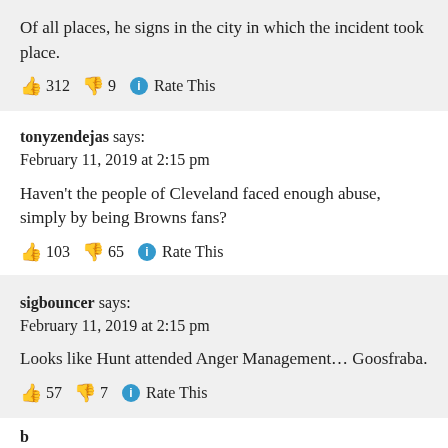Of all places, he signs in the city in which the incident took place.
👍 312 👎 9 ℹ Rate This
tonyzendejas says:
February 11, 2019 at 2:15 pm
Haven't the people of Cleveland faced enough abuse, simply by being Browns fans?
👍 103 👎 65 ℹ Rate This
sigbouncer says:
February 11, 2019 at 2:15 pm
Looks like Hunt attended Anger Management… Goosfraba.
👍 57 👎 7 ℹ Rate This